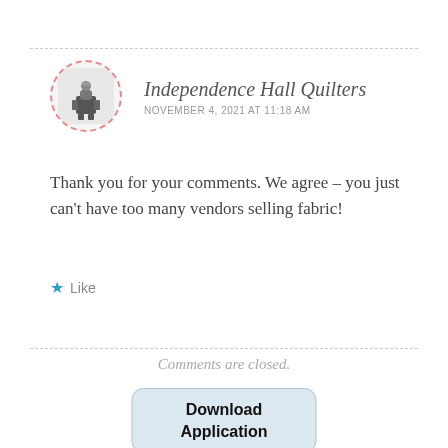Independence Hall Quilters
NOVEMBER 4, 2021 AT 11:18 AM
Thank you for your comments. We agree – you just can't have too many vendors selling fabric!
Like
Comments are closed.
Download Application